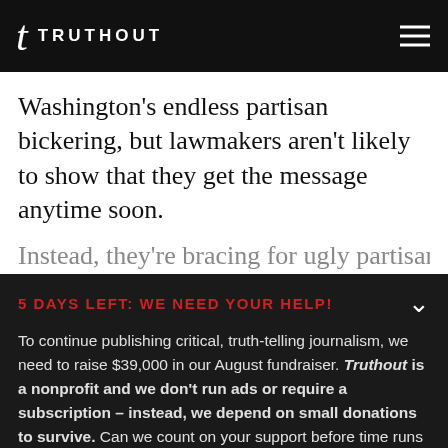TRUTHOUT
Washington's endless partisan bickering, but lawmakers aren't likely to show that they get the message anytime soon.
Instead, they're bracing for ugly partisan
5 DAYS LEFT: WE NEED YOUR HELP!
To continue publishing critical, truth-telling journalism, we need to raise $39,000 in our August fundraiser. Truthout is a nonprofit and we don't run ads or require a subscription – instead, we depend on small donations to survive. Can we count on your support before time runs out?
DONATE
DONATE MONTHLY